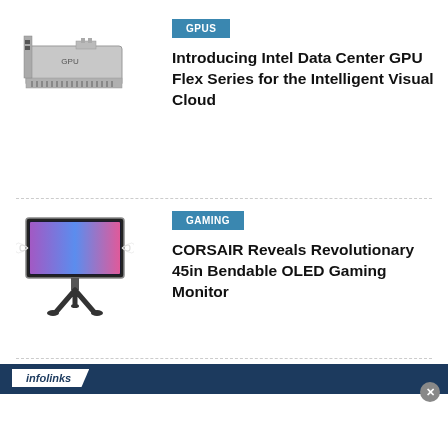[Figure (photo): Intel Data Center GPU Flex Series card, silver/gray PCIe card]
GPUS
Introducing Intel Data Center GPU Flex Series for the Intelligent Visual Cloud
[Figure (photo): CORSAIR bendable OLED gaming monitor shown curved with stand]
GAMING
CORSAIR Reveals Revolutionary 45in Bendable OLED Gaming Monitor
infolinks